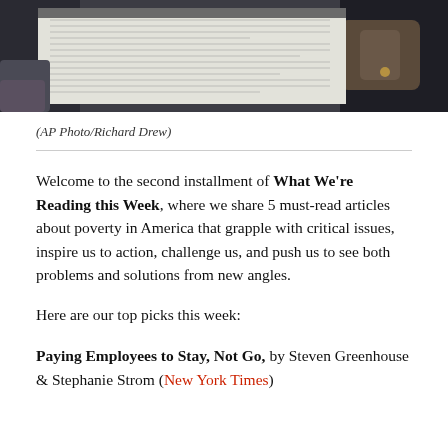[Figure (photo): A person holding and reading a newspaper, dark background, close-up photo.]
(AP Photo/Richard Drew)
Welcome to the second installment of What We're Reading this Week, where we share 5 must-read articles about poverty in America that grapple with critical issues, inspire us to action, challenge us, and push us to see both problems and solutions from new angles.
Here are our top picks this week:
Paying Employees to Stay, Not Go, by Steven Greenhouse & Stephanie Strom (New York Times)